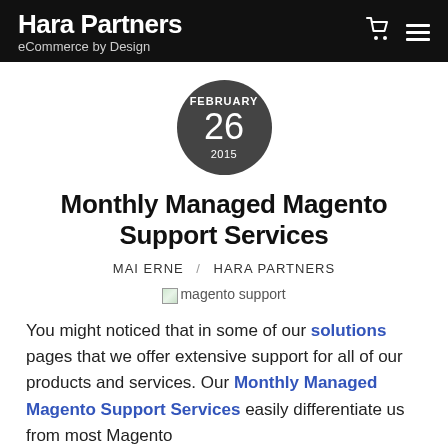Hara Partners
eCommerce by Design
[Figure (other): Circular date badge showing FEBRUARY 26 2015 on dark gray background]
Monthly Managed Magento Support Services
MAI ERNE / Hara Partners
[Figure (photo): Broken image placeholder for magento support image]
You might noticed that in some of our solutions pages that we offer extensive support for all of our products and services. Our Monthly Managed Magento Support Services easily differentiate us from most Magento